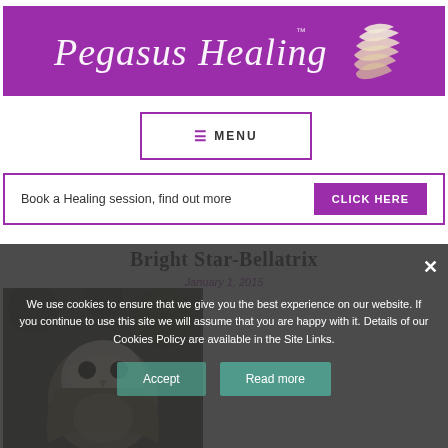[Figure (logo): Pegasus Healing logo — cursive white text 'Pegasus Healing' with white wing motif on purple background]
≡ MENU
Book a Healing session, find out more  CLICK HERE
Bright Star-Bellatrix
January 1, 2015
[Figure (photo): Close-up photo of a barn owl face with dark eyes against a dark background]
We use cookies to ensure that we give you the best experience on our website. If you continue to use this site we will assume that you are happy with it. Details of our Cookies Policy are available in the Site Links.